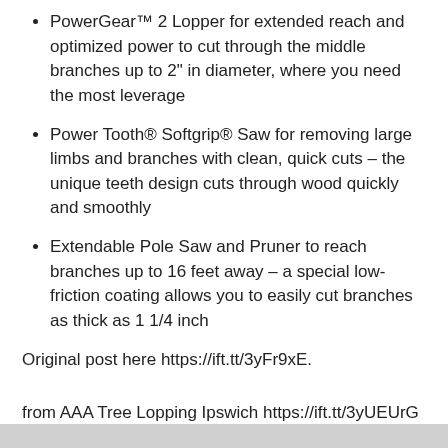PowerGear™ 2 Lopper for extended reach and optimized power to cut through the middle branches up to 2" in diameter, where you need the most leverage
Power Tooth® Softgrip® Saw for removing large limbs and branches with clean, quick cuts – the unique teeth design cuts through wood quickly and smoothly
Extendable Pole Saw and Pruner to reach branches up to 16 feet away – a special low-friction coating allows you to easily cut branches as thick as 1 1/4 inch
Original post here https://ift.tt/3yFr9xE.
from AAA Tree Lopping Ipswich https://ift.tt/3yUEUrG
via IFTTT